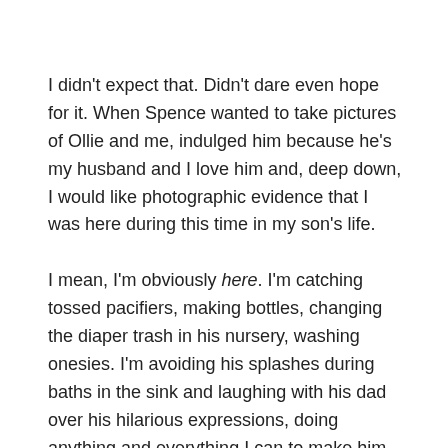I didn't expect that. Didn't dare even hope for it. When Spence wanted to take pictures of Ollie and me, indulged him because he's my husband and I love him and, deep down, I would like photographic evidence that I was here during this time in my son's life.
I mean, I'm obviously here. I'm catching tossed pacifiers, making bottles, changing the diaper trash in his nursery, washing onesies. I'm avoiding his splashes during baths in the sink and laughing with his dad over his hilarious expressions, doing anything and everything I can to make him grin.
I'm rocking him at 2 a.m., and 3 a.m., and sometimes 4